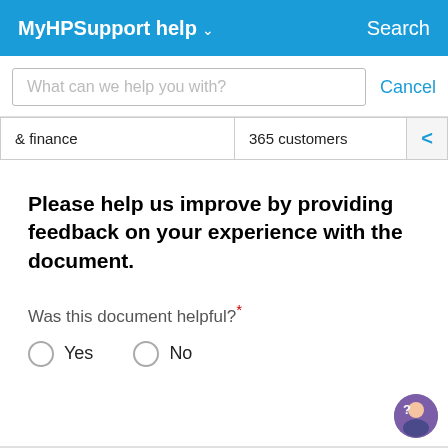MyHPSupport help ∨   Search
What can we help you with?    Cancel
| & finance | 365 customers |
Please help us improve by providing feedback on your experience with the document.
Was this document helpful?*
Yes   No